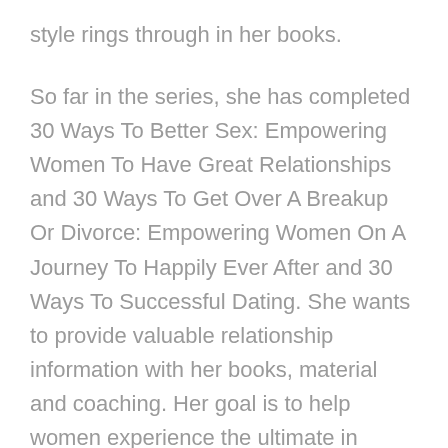style rings through in her books.
So far in the series, she has completed 30 Ways To Better Sex: Empowering Women To Have Great Relationships and 30 Ways To Get Over A Breakup Or Divorce: Empowering Women On A Journey To Happily Ever After and 30 Ways To Successful Dating. She wants to provide valuable relationship information with her books, material and coaching. Her goal is to help women experience the ultimate in happiness, satisfaction and love.